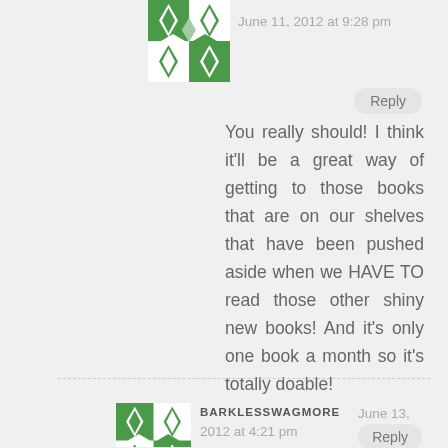[Figure (illustration): Green and white decorative avatar icon with diamond/flower pattern]
June 11, 2012 at 9:28 pm
Reply
You really should! I think it'll be a great way of getting to those books that are on our shelves that have been pushed aside when we HAVE TO read those other shiny new books! And it's only one book a month so it's totally doable!
[Figure (illustration): Green and white decorative avatar icon with diamond/flower pattern]
BARKLESSWAGMORE
June 13, 2012 at 4:21 pm
Reply